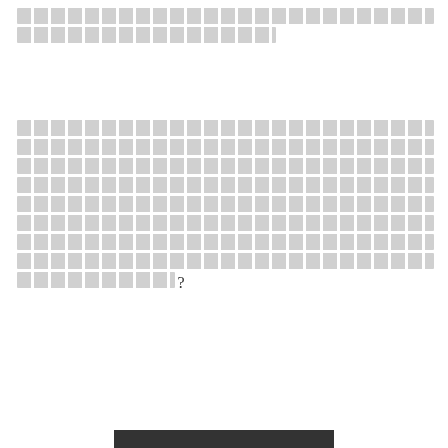[redacted text block - two lines]
[redacted text block - multiple lines ending with ?]
[Figure (screenshot): Dark button with text 'next' centered in white background area]
[Figure (screenshot): Gray screenshot area with lighter gray scroll/navigation button in top right corner containing a pink/mauve triangle arrow]